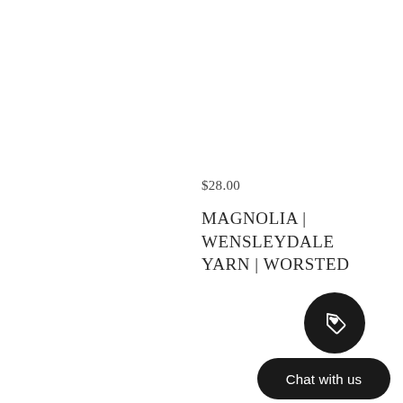$28.00
MAGNOLIA | WENSLEYDALE YARN | WORSTED
[Figure (illustration): Dark circular button with a price/tag heart icon (white outline tag shape with a heart) on a black circle background]
[Figure (illustration): Chat with us button — black rounded pill button with white text]